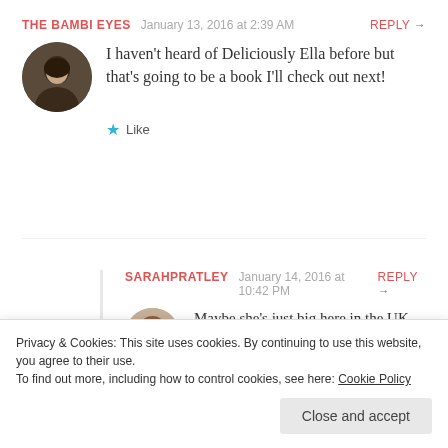THE BAMBI EYES   January 13, 2016 at 2:39 AM   REPLY →
I haven't heard of Deliciously Ella before but that's going to be a book I'll check out next!
★ Like
SARAHPRATLEY   January 14, 2016 at 10:42 PM   REPLY →
Maybe she's just big here in the UK then,
Privacy & Cookies: This site uses cookies. By continuing to use this website, you agree to their use.
To find out more, including how to control cookies, see here: Cookie Policy
Close and accept